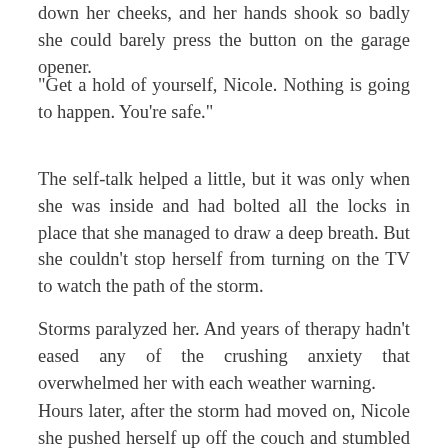down her cheeks, and her hands shook so badly she could barely press the button on the garage opener.
"Get a hold of yourself, Nicole. Nothing is going to happen. You're safe."
The self-talk helped a little, but it was only when she was inside and had bolted all the locks in place that she managed to draw a deep breath. But she couldn't stop herself from turning on the TV to watch the path of the storm.
Storms paralyzed her. And years of therapy hadn't eased any of the crushing anxiety that overwhelmed her with each weather warning.
Hours later, after the storm had moved on, Nicole she pushed herself up off the couch and stumbled down the hallway to her bedroom, one hand covering the